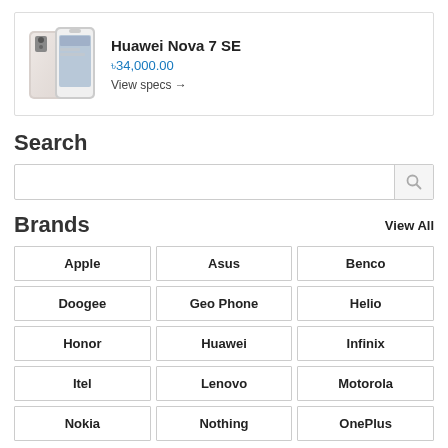[Figure (photo): Huawei Nova 7 SE smartphone product image showing two phone angles]
Huawei Nova 7 SE
৳34,000.00
View specs →
Search
Brands
View All
Apple
Asus
Benco
Doogee
Geo Phone
Helio
Honor
Huawei
Infinix
Itel
Lenovo
Motorola
Nokia
Nothing
OnePlus